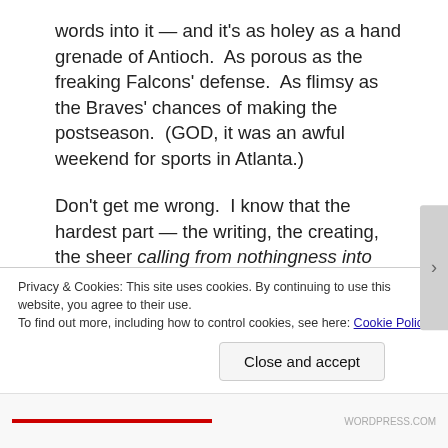words into it — and it's as holey as a hand grenade of Antioch.  As porous as the freaking Falcons' defense.  As flimsy as the Braves' chances of making the postseason.  (GOD, it was an awful weekend for sports in Atlanta.)
Don't get me wrong.  I know that the hardest part — the writing, the creating, the sheer calling from nothingness into being of this thing — is behind me.  But the task ahead ain't all sunshine and lemondrops.  I can't even say it's peanut butter sandwiches and leftover pizza.  It's looking more
Privacy & Cookies: This site uses cookies. By continuing to use this website, you agree to their use.
To find out more, including how to control cookies, see here: Cookie Policy
Close and accept